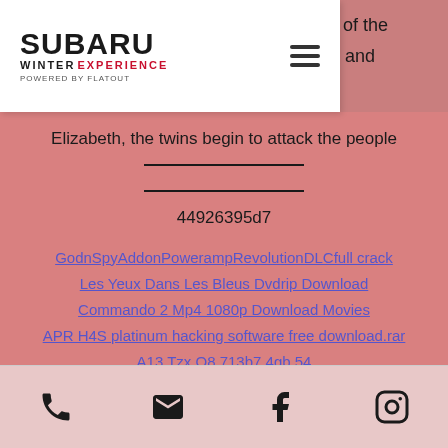[Figure (logo): Subaru Winter Experience powered by Flatout logo with hamburger menu icon]
of the
and Elizabeth, the twins begin to attack the people
44926395d7
GodnSpyAddonPowerampRevolutionDLCfull crack
Les Yeux Dans Les Bleus Dvdrip Download
Commando 2 Mp4 1080p Download Movies
APR H4S platinum hacking software free download.rar
A13 Tzx Q8 713b7 4gb 54
Phone | Email | Facebook | Instagram icons